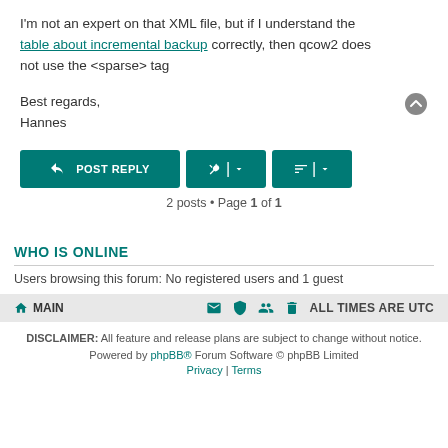I'm not an expert on that XML file, but if I understand the table about incremental backup correctly, then qcow2 does not use the <sparse> tag
Best regards,
Hannes
[Figure (infographic): Buttons row: POST REPLY button, tool/wrench button with dropdown, sort button with dropdown. Below: '2 posts • Page 1 of 1']
WHO IS ONLINE
Users browsing this forum: No registered users and 1 guest
MAIN | icons | ALL TIMES ARE UTC
DISCLAIMER: All feature and release plans are subject to change without notice.
Powered by phpBB® Forum Software © phpBB Limited
Privacy | Terms